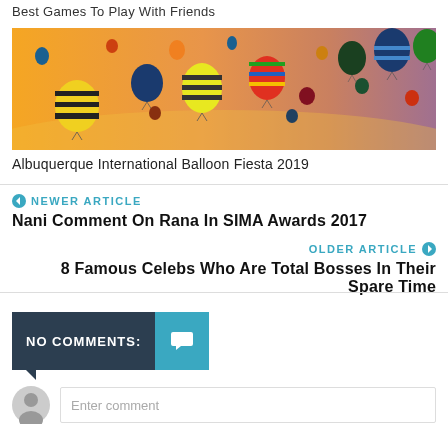Best Games To Play With Friends
[Figure (photo): Hot air balloons floating in a colorful sky at the Albuquerque International Balloon Fiesta 2019]
Albuquerque International Balloon Fiesta 2019
NEWER ARTICLE
Nani Comment On Rana In SIMA Awards 2017
OLDER ARTICLE
8 Famous Celebs Who Are Total Bosses In Their Spare Time
NO COMMENTS:
Enter comment